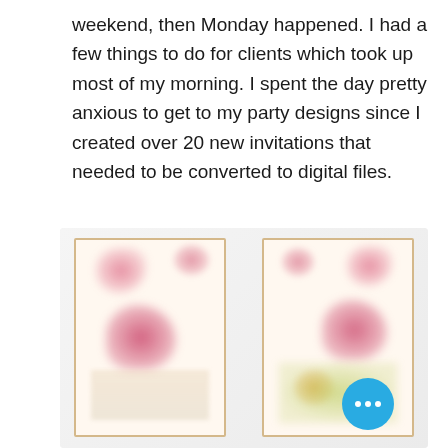weekend, then Monday happened. I had a few things to do for clients which took up most of my morning. I spent the day pretty anxious to get to my party designs since I created over 20 new invitations that needed to be converted to digital files.
[Figure (photo): Blurred photo showing two party invitation cards side by side with floral designs in pink and gold on a light background. A blue circular button with three white dots is overlaid in the bottom-right corner.]